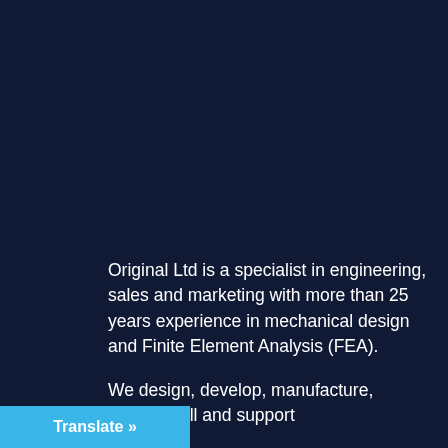Original Ltd is a specialist in engineering, sales and marketing with more than 25 years experience in mechanical design and Finite Element Analysis (FEA).
We design, develop, manufacture, market, sell and support